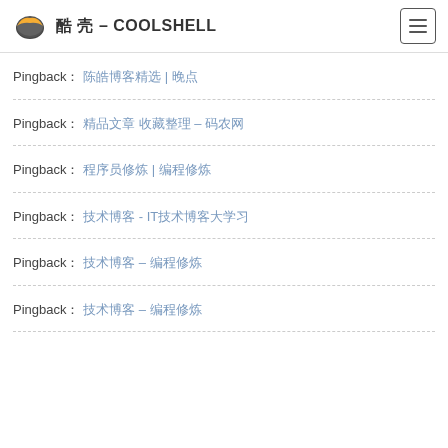酷 壳 – COOLSHELL
Pingback： 陈皓博客精选 | 晚点
Pingback： 精品文章 收藏整理 – 码农网
Pingback： 程序员修炼 | 编程修炼
Pingback： 技术博客 - IT技术博客大学习
Pingback： 技术博客 – 编程修炼
Pingback： 技术博客 – 编程修炼